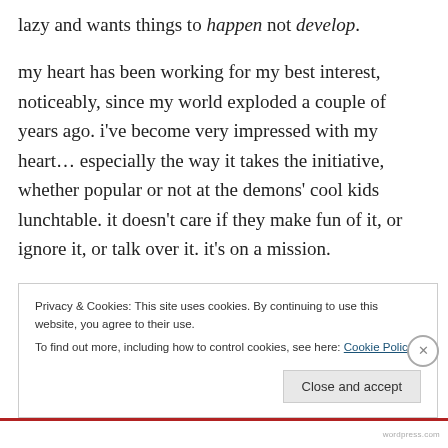lazy and wants things to happen not develop.
my heart has been working for my best interest, noticeably, since my world exploded a couple of years ago. i've become very impressed with my heart… especially the way it takes the initiative, whether popular or not at the demons' cool kids lunchtable. it doesn't care if they make fun of it, or ignore it, or talk over it. it's on a mission.
the truth is, i still think of myself as lazy. anyone other
Privacy & Cookies: This site uses cookies. By continuing to use this website, you agree to their use.
To find out more, including how to control cookies, see here: Cookie Policy
wordpress.com